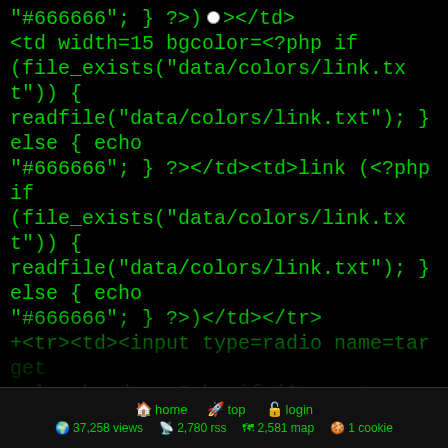"#666666"; } ?>)</td><td width=5></td><td <input type=radio name=target value=link <?php if ($target == "link") { echo checked; } ?>></td><td width=15 bgcolor=<?php if (file_exists("data/colors/link.txt")) { readfile("data/colors/link.txt"); } else { echo "#666666"; } ?>></td><td>link (<?php if (file_exists("data/colors/link.txt")) { readfile("data/colors/link.txt"); } else { echo "#666666"; } ?>)</td></tr>
+<tr><td><input type=radio name=target value=border <?php if ($target == "border") { echo checked; } ?>></td><td width=15 bgcolor=<?php if (file_exists("data/colors/border.txt")) { readfile("data/colors/border.txt"); } else { echo "#CCCCCC"; } ?>></td><td>border (<?php if (file_exists("data/colors/border.txt")) { readfile("data/colors/border.txt"); } else { echo "#CCCCCC"; } ?>)</td><td width=5></td><td><input type=radio name=target value=vlink <?php if ($target == "vlink") { echo checked; } ?>></td><td width=15 bgcolor=<?php if (file_exists("data/colors/vlink.txt")) { readfile("data/colors/vlink.txt"); } else { echo "#666666"; } ?>></td><td>visited (<?php if
home  top  login  37,258 views  2,780 rss  2,581 map  1 cookie